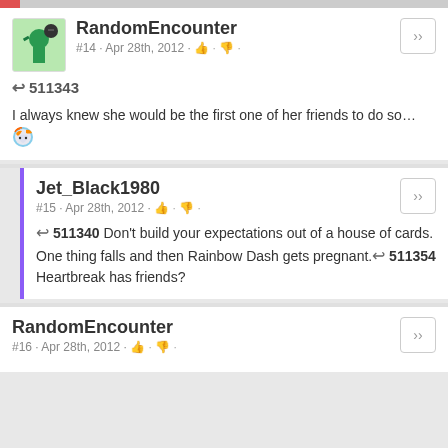RandomEncounter #14 · Apr 28th, 2012
↩ 511343
I always knew she would be the first one of her friends to do so…
Jet_Black1980 #15 · Apr 28th, 2012
↩ 511340 Don't build your expectations out of a house of cards. One thing falls and then Rainbow Dash gets pregnant. ↩ 511354
Heartbreak has friends?
RandomEncounter #16 · Apr 28th, 2012